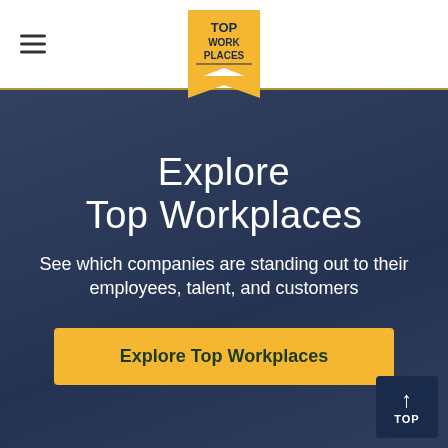[Figure (logo): Top Work Places yellow ribbon/badge logo with text TOP WORK PLACES]
Explore Top Workplaces
See which companies are standing out to their employees, talent, and customers
[Figure (illustration): Explore Top Workplaces button with gold/yellow background and dark green bold text]